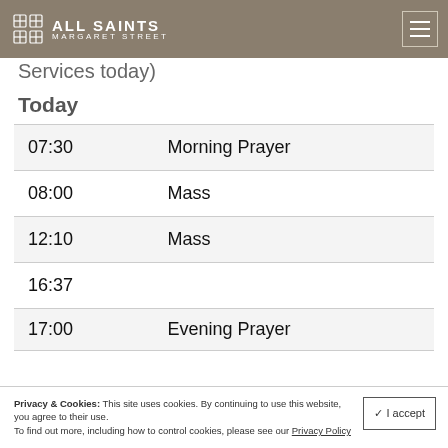ALL SAINTS MARGARET STREET
Services today)
Today
| Time | Service |
| --- | --- |
| 07:30 | Morning Prayer |
| 08:00 | Mass |
| 12:10 | Mass |
| 16:37 |  |
| 17:00 | Evening Prayer |
Privacy & Cookies: This site uses cookies. By continuing to use this website, you agree to their use. To find out more, including how to control cookies, please see our Privacy Policy